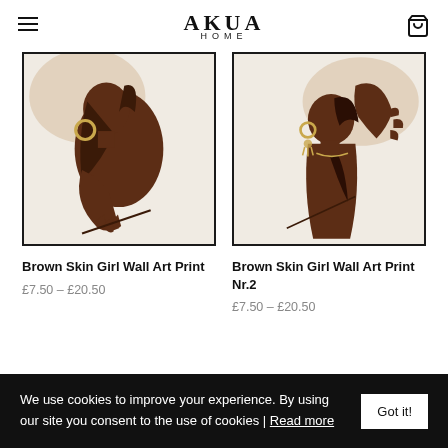AKUA HOME
[Figure (illustration): Abstract illustration of a dark-skinned woman with gold hoop earrings, bent over, minimal flat art style on cream background]
Brown Skin Girl Wall Art Print
£7.50 – £20.50
[Figure (illustration): Abstract illustration of a dark-skinned woman with gold earrings and raised hand, minimal flat art style on cream background]
Brown Skin Girl Wall Art Print Nr.2
£7.50 – £20.50
We use cookies to improve your experience. By using our site you consent to the use of cookies | Read more    Got it!